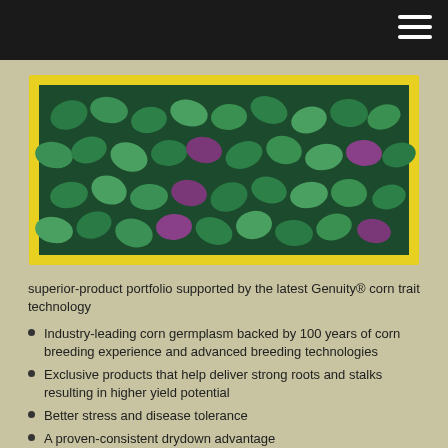[Figure (photo): Close-up photo of green and purple coated corn seeds in a yellow seed box/container]
superior-product portfolio supported by the latest Genuity® corn trait technology
Industry-leading corn germplasm backed by 100 years of corn breeding experience and advanced breeding technologies
Exclusive products that help deliver strong roots and stalks resulting in higher yield potential
Better stress and disease tolerance
A proven-consistent drydown advantage
DEKALB ® Genuity ® Roundup Ready ® Alfalfa Offers:
Increased, High Quality Yield